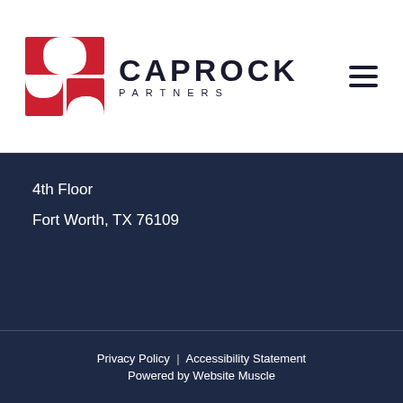[Figure (logo): Caprock Partners logo with red geometric icon and dark text]
4th Floor
Fort Worth, TX 76109
Privacy Policy | Accessibility Statement
Powered by Website Muscle
[Figure (illustration): Social media icons: Facebook, Instagram, LinkedIn, Twitter, and an accessibility button]